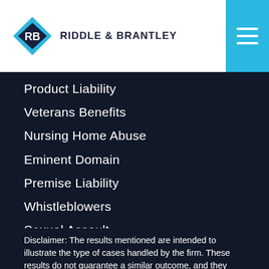[Figure (logo): Riddle & Brantley law firm logo with diamond RB icon and firm name]
Product Liability
Veterans Benefits
Nursing Home Abuse
Eminent Domain
Premise Liability
Whistleblowers
Sexual Assault
Employment Law
Unauthorized Practice of Law
Disclaimer: The results mentioned are intended to illustrate the type of cases handled by the firm. These results do not guarantee a similar outcome, and they